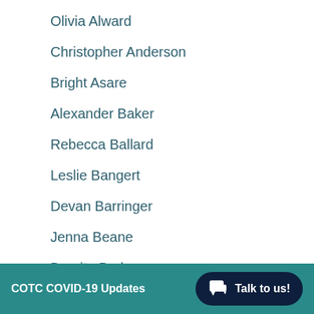Olivia Alward
Christopher Anderson
Bright Asare
Alexander Baker
Rebecca Ballard
Leslie Bangert
Devan Barringer
Jenna Beane
Dursitu Bedasso
Nolan Belcher
COTC COVID-19 Updates   Talk to us!